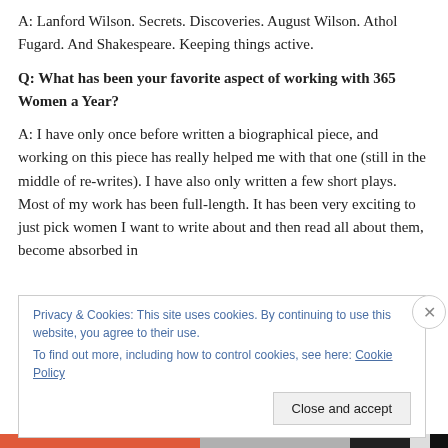A: Lanford Wilson. Secrets. Discoveries. August Wilson. Athol Fugard. And Shakespeare. Keeping things active.
Q: What has been your favorite aspect of working with 365 Women a Year?
A: I have only once before written a biographical piece, and working on this piece has really helped me with that one (still in the middle of re-writes). I have also only written a few short plays. Most of my work has been full-length. It has been very exciting to just pick women I want to write about and then read all about them, become absorbed in
Privacy & Cookies: This site uses cookies. By continuing to use this website, you agree to their use.
To find out more, including how to control cookies, see here: Cookie Policy
Close and accept